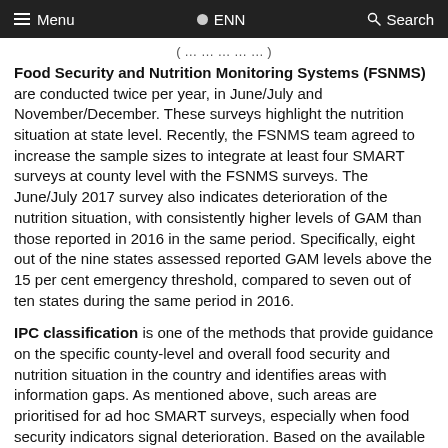≡ Menu   ● ENN   🔍 Search
Food Security and Nutrition Monitoring Systems (FSNMS) are conducted twice per year, in June/July and November/December. These surveys highlight the nutrition situation at state level. Recently, the FSNMS team agreed to increase the sample sizes to integrate at least four SMART surveys at county level with the FSNMS surveys. The June/July 2017 survey also indicates deterioration of the nutrition situation, with consistently higher levels of GAM than those reported in 2016 in the same period. Specifically, eight out of the nine states assessed reported GAM levels above the 15 per cent emergency threshold, compared to seven out of ten states during the same period in 2016.
IPC classification is one of the methods that provide guidance on the specific county-level and overall food security and nutrition situation in the country and identifies areas with information gaps. As mentioned above, such areas are prioritised for ad hoc SMART surveys, especially when food security indicators signal deterioration. Based on the available IPC analysis, the food security and nutrition situation deteriorated consistently in the last three years (2015-17).
Good quality monthly new admissions programme data